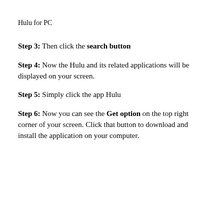Hulu for PC
Step 3: Then click the search button
Step 4: Now the Hulu and its related applications will be displayed on your screen.
Step 5: Simply click the app Hulu
Step 6: Now you can see the Get option on the top right corner of your screen. Click that button to download and install the application on your computer.